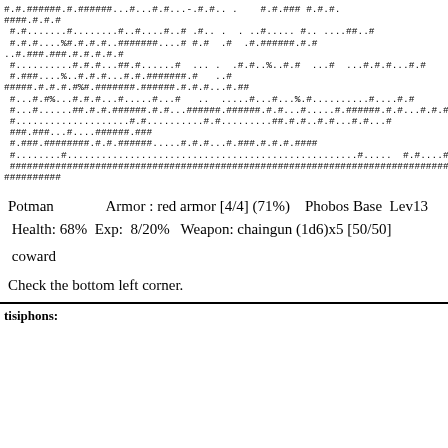[Figure (screenshot): ASCII art map display from a roguelike game showing # and . characters forming a dungeon map layout]
Potman    Armor : red armor [4/4] (71%)    Phobos Base  Lev13
Health: 68%  Exp:  8/20%   Weapon: chaingun (1d6)x5 [50/50]
coward
Check the bottom left corner.
tisiphons: